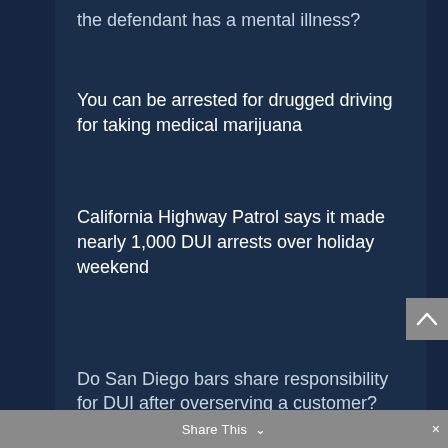the defendant has a mental illness?
You can be arrested for drugged driving for taking medical marijuana
California Highway Patrol says it made nearly 1,000 DUI arrests over holiday weekend
Do San Diego bars share responsibility for DUI after overserving a customer?
Share This  ×